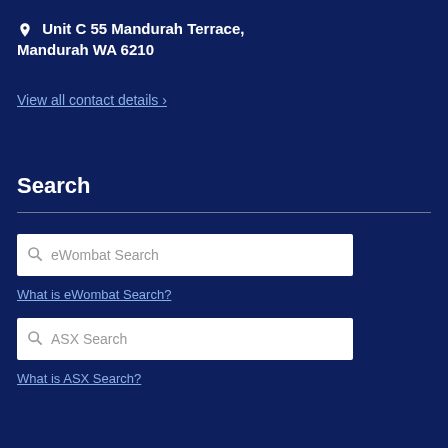Unit C 55 Mandurah Terrace, Mandurah WA 6210
View all contact details ›
Search
eWombat Search
What is eWombat Search?
ASX Search
What is ASX Search?